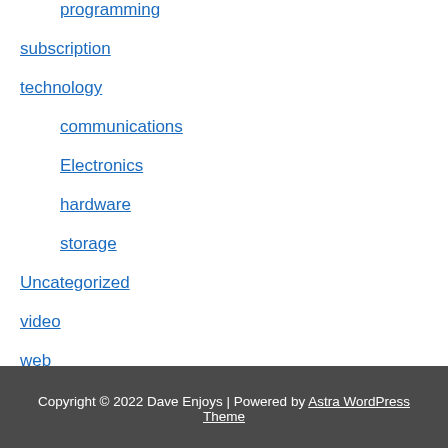programming
subscription
technology
communications
Electronics
hardware
storage
Uncategorized
video
web
work
Copyright © 2022 Dave Enjoys | Powered by Astra WordPress Theme